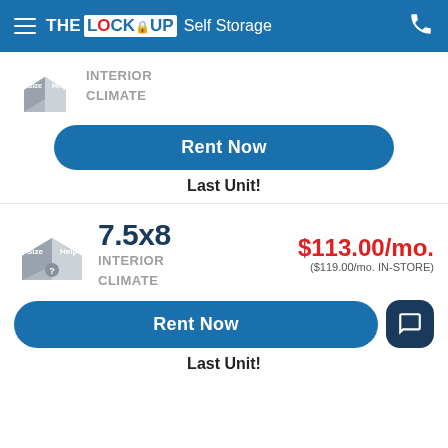THE LOCK UP Self Storage
[Figure (illustration): Partial gray 3D storage box icon with Size and Help labels]
INTERIOR
CLIMATE
Rent Now
Last Unit!
[Figure (illustration): Gray 3D storage box icon with Size and Help labels and question mark]
7.5x8
INTERIOR
CLIMATE
$113.00/mo.
($119.00/mo. IN-STORE)
Rent Now
Last Unit!